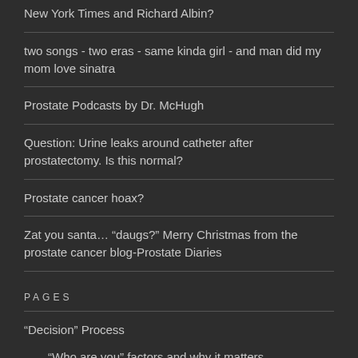New York Times and Richard Albin?
two songs - two eras - same kinda girl - and man did my mom love sinatra
Prostate Podcasts by Dr. McHugh
Question: Urine leaks around catheter after prostatectomy. Is this normal?
Prostate cancer hoax?
Zat you santa… “daugs?” Merry Christmas from the prostate cancer blog-Prostate Diaries
PAGES
“Decision” Process
“Who are you” factors and why it matters.